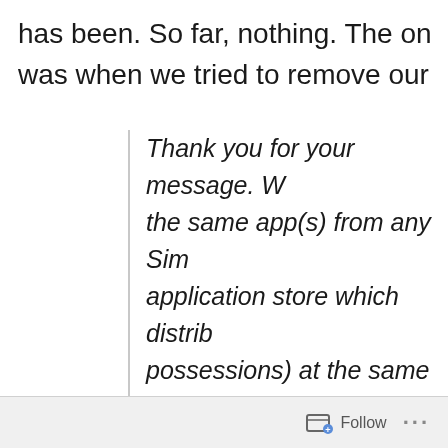has been. So far, nothing. The on was when we tried to remove our
Thank you for your message. W the same app(s) from any Sim application store which distrib possessions) at the same time prevent you from listing the ap refer to the Distribution Agree
3.a. Delivery Commitment for A and continue to make availab software applications, games special or collector's editions) for which you have the rights
Follow ...